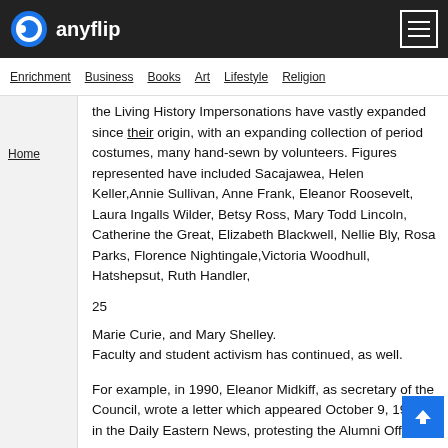anyflip
Enrichment  Business  Books  Art  Lifestyle  Religion
Home
the Living History Impersonations have vastly expanded since their origin, with an expanding collection of period costumes, many hand-sewn by volunteers. Figures represented have included Sacajawea, Helen Keller, Annie Sullivan, Anne Frank, Eleanor Roosevelt, Laura Ingalls Wilder, Betsy Ross, Mary Todd Lincoln, Catherine the Great, Elizabeth Blackwell, Nellie Bly, Rosa Parks, Florence Nightingale, Victoria Woodhull, Hatshepsut, Ruth Handler,
25
Marie Curie, and Mary Shelley.
Faculty and student activism has continued, as well.
For example, in 1990, Eleanor Midkiff, as secretary of the Council, wrote a letter which appeared October 9, 1990, in the Daily Eastern News, protesting the Alumni Office's